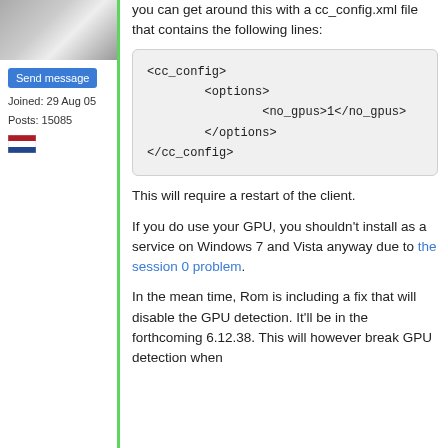[Figure (photo): Avatar/profile image of a user, showing a landscape or sky photo]
Send message
Joined: 29 Aug 05
Posts: 15085
[Figure (illustration): Dutch flag icon]
you can get around this with a cc_config.xml file that contains the following lines:
<cc_config>
        <options>
                <no_gpus>1</no_gpus>
        </options>
</cc_config>
This will require a restart of the client.
If you do use your GPU, you shouldn't install as a service on Windows 7 and Vista anyway due to the session 0 problem.
In the mean time, Rom is including a fix that will disable the GPU detection. It'll be in the forthcoming 6.12.38. This will however break GPU detection when